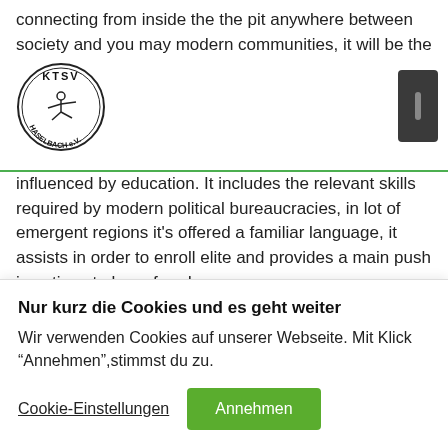connecting from inside the the pit anywhere between society and you may modern communities, it will be the
[Figure (logo): KTSV Haselbach e.V. circular logo with a gymnast figure in the center]
influenced by education. It includes the relevant skills required by modern political bureaucracies, in lot of emergent regions it's offered a familiar language, it assists in order to enroll elite and provides a main push in actions to have freedom.
(partial line cut off at bottom of visible text area)
Nur kurz die Cookies und es geht weiter
Wir verwenden Cookies auf unserer Webseite. Mit Klick "Annehmen",stimmst du zu.
Cookie-Einstellungen
Annehmen